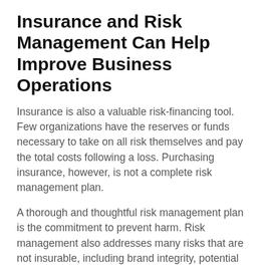Insurance and Risk Management Can Help Improve Business Operations
Insurance is also a valuable risk-financing tool. Few organizations have the reserves or funds necessary to take on all risk themselves and pay the total costs following a loss. Purchasing insurance, however, is not a complete risk management plan.
A thorough and thoughtful risk management plan is the commitment to prevent harm. Risk management also addresses many risks that are not insurable, including brand integrity, potential loss of tax-exempt status for volunteer groups, public goodwill and continuing donor support. By integrating risk prevention activities into your annual operations plan, you may improve efficiencies and increase capacity.